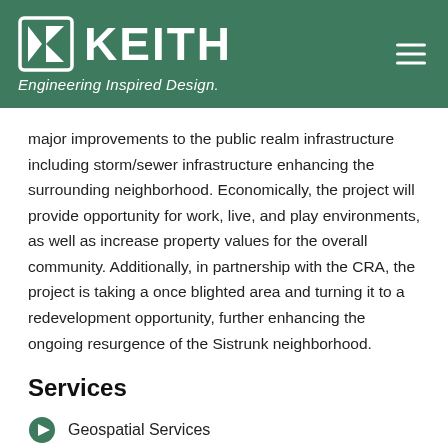KEITH Engineering Inspired Design.
major improvements to the public realm infrastructure including storm/sewer infrastructure enhancing the surrounding neighborhood. Economically, the project will provide opportunity for work, live, and play environments, as well as increase property values for the overall community. Additionally, in partnership with the CRA, the project is taking a once blighted area and turning it to a redevelopment opportunity, further enhancing the ongoing resurgence of the Sistrunk neighborhood.
Services
Geospatial Services